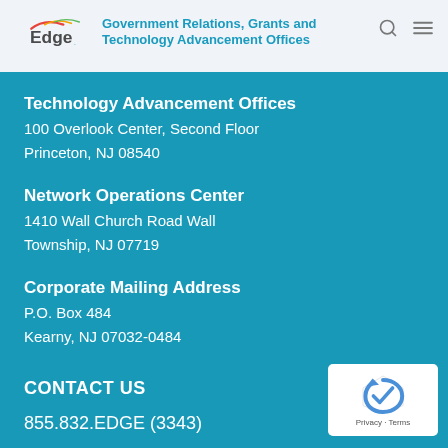Government Relations, Grants and Technology Advancement Offices
Technology Advancement Offices
100 Overlook Center, Second Floor
Princeton, NJ 08540
Network Operations Center
1410 Wall Church Road Wall Township, NJ 07719
Corporate Mailing Address
P.O. Box 484
Kearny, NJ 07032-0484
CONTACT US
855.832.EDGE (3343)